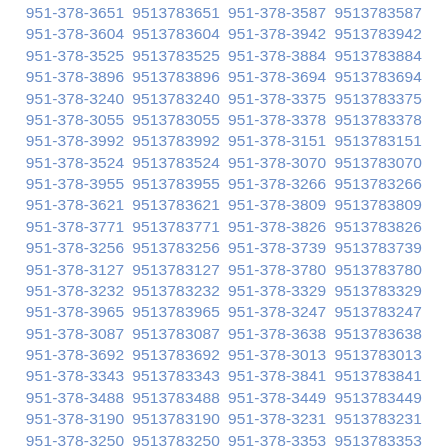951-378-3651 9513783651 951-378-3587 9513783587 951-378-3604 9513783604 951-378-3942 9513783942 951-378-3525 9513783525 951-378-3884 9513783884 951-378-3896 9513783896 951-378-3694 9513783694 951-378-3240 9513783240 951-378-3375 9513783375 951-378-3055 9513783055 951-378-3378 9513783378 951-378-3992 9513783992 951-378-3151 9513783151 951-378-3524 9513783524 951-378-3070 9513783070 951-378-3955 9513783955 951-378-3266 9513783266 951-378-3621 9513783621 951-378-3809 9513783809 951-378-3771 9513783771 951-378-3826 9513783826 951-378-3256 9513783256 951-378-3739 9513783739 951-378-3127 9513783127 951-378-3780 9513783780 951-378-3232 9513783232 951-378-3329 9513783329 951-378-3965 9513783965 951-378-3247 9513783247 951-378-3087 9513783087 951-378-3638 9513783638 951-378-3692 9513783692 951-378-3013 9513783013 951-378-3343 9513783343 951-378-3841 9513783841 951-378-3488 9513783488 951-378-3449 9513783449 951-378-3190 9513783190 951-378-3231 9513783231 951-378-3250 9513783250 951-378-3353 9513783353 951-378-3187 9513783187 951-378-3063 9513783063 951-378-3324 9513783324 951-378-3523 9513783523 951-378-3320 9513783320 951-378-3035 9513783035 951-378-3368 9513783368 951-378-3994 9513783994 951-378-3929 9513783929 951-378-3282 9513783282